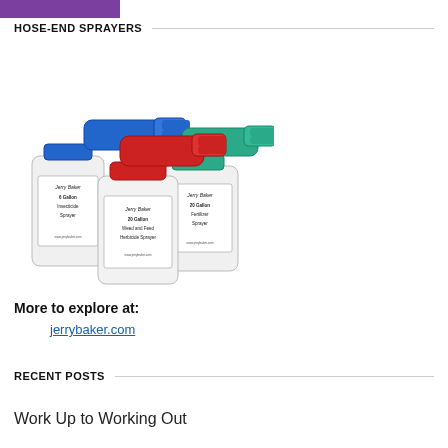[Figure (photo): Purple bar at top of page]
HOSE-END SPRAYERS
[Figure (photo): Three hose-end sprayers with colored tops (blue, red, green) and white bottles labeled: 6 Gallon Insecticide Sprayer, 20 Gallon Weed and Feed Herbicide Sprayer, 20 Gallon Fertilizer Sprayer, all Jerry Baker brand]
More to explore at:
jerrybaker.com
RECENT POSTS
Work Up to Working Out